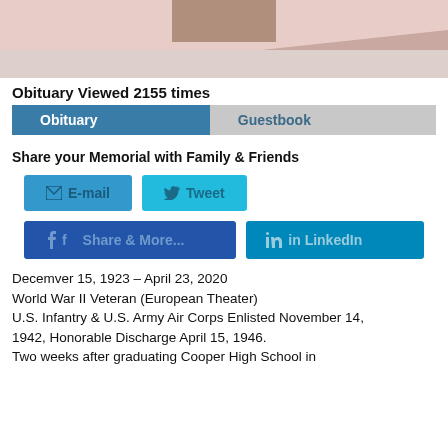[Figure (photo): Partial portrait photo with pinkish/beige background, showing bottom of a face and decorative diagonal stripe pattern]
Obituary Viewed 2155 times
Obituary   Guestbook
Share your Memorial with Family & Friends
[Figure (infographic): Social share buttons: E-mail, Tweet, Facebook share, LinkedIn]
Decemver 15, 1923 – April 23, 2020
World War II Veteran (European Theater)
U.S. Infantry & U.S. Army Air Corps Enlisted November 14, 1942, Honorable Discharge April 15, 1946.
Two weeks after graduating Cooper High School in